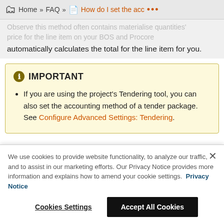Home » FAQ » How do I set the acc •••
Observe this method often contains materialise quantities' price for the line item on your BOS and Procore automatically calculates the total for the line item for you.
IMPORTANT
If you are using the project's Tendering tool, you can also set the accounting method of a tender package. See Configure Advanced Settings: Tendering.
We use cookies to provide website functionality, to analyze our traffic, and to assist in our marketing efforts. Our Privacy Notice provides more information and explains how to amend your cookie settings. Privacy Notice
Cookies Settings   Accept All Cookies